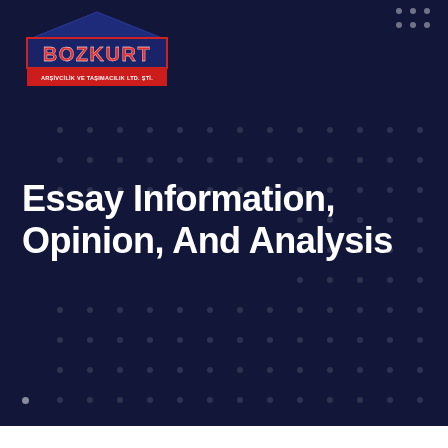[Figure (logo): Bozkurt logo with red triangle roof shape, dark blue background, red text 'BOZKURT' in bold, red banner below with white text 'ARŞİVCİLİK VE TAŞIMACILIK LTD. ŞTİ.']
Essay Information, Opinion, And Analysis